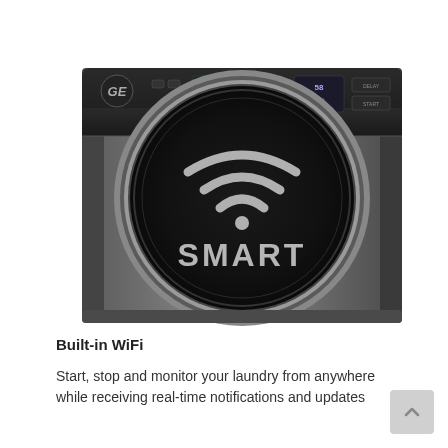[Figure (photo): GE smart front-load washing machine in graphite/dark color, featuring a large circular door with a WiFi symbol and the word SMART overlaid on it. The control panel at the top shows buttons and a digital display.]
Built-in WiFi
Start, stop and monitor your laundry from anywhere while receiving real-time notifications and updates